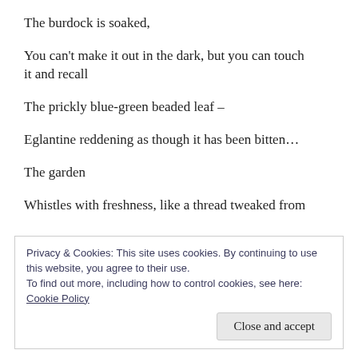The burdock is soaked,
You can’t make it out in the dark, but you can touch it and recall
The prickly blue-green beaded leaf –
Eglantine reddening as though it has been bitten…
The garden
Whistles with freshness, like a thread tweaked from
Privacy & Cookies: This site uses cookies. By continuing to use this website, you agree to their use.
To find out more, including how to control cookies, see here: Cookie Policy